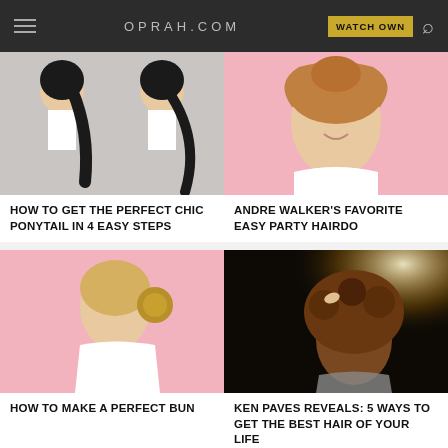OPRAH.COM  WATCH OWN
[Figure (photo): Two women shown in profile with black ponytail hairstyles on gray background]
HOW TO GET THE PERFECT CHIC PONYTAIL IN 4 EASY STEPS
[Figure (photo): Woman with retro wavy hair smiling against pink background]
ANDRE WALKER'S FAVORITE EASY PARTY HAIRDO
[Figure (photo): Blonde woman in profile showing a chic bun hairstyle against pink background]
HOW TO MAKE A PERFECT BUN
[Figure (photo): Hairstylist working on a woman with curly natural hair against dark background with light flare]
KEN PAVES REVEALS: 5 WAYS TO GET THE BEST HAIR OF YOUR LIFE